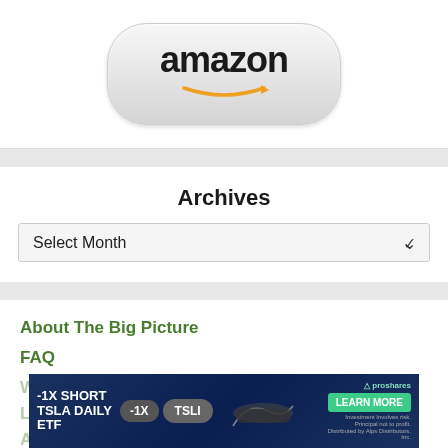[Figure (logo): Amazon logo button — pill-shaped grey gradient button with 'amazon' text in black bold and orange arrow/smile below]
Archives
Select Month (dropdown)
About The Big Picture
FAQ
What the Press Says
Legal
Advertising Disclosures
[Figure (screenshot): -1X SHORT TSLA DAILY ETF advertisement banner with -1X badge, TSLI ticker, Tesla car image, ProShares logo, LEARN MORE button]